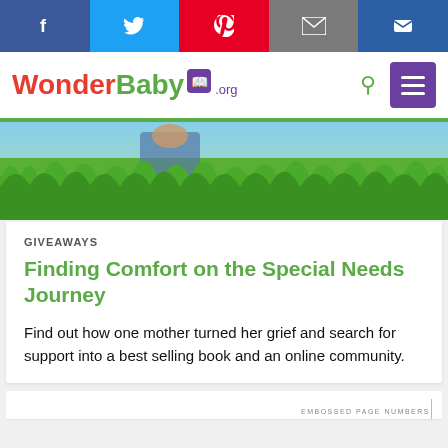[Figure (screenshot): Social media sharing bar with Facebook, Twitter, Pinterest, Email, and Crown icons]
WonderBaby.org
[Figure (photo): Child playing in green grass, hero image]
GIVEAWAYS
Finding Comfort on the Special Needs Journey
Find out how one mother turned her grief and search for support into a best selling book and an online community.
EMBOSSED PAGE NUMBERS